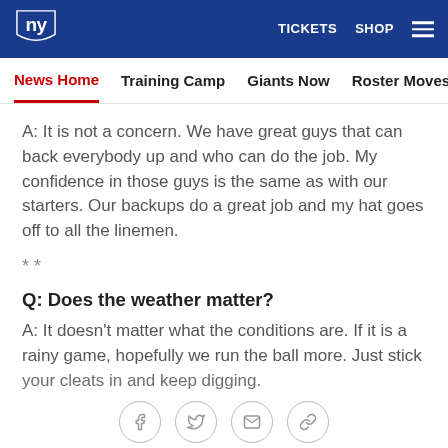NY Giants website header with logo, TICKETS, SHOP navigation
News Home | Training Camp | Giants Now | Roster Moves | Fact o
A: It is not a concern. We have great guys that can back everybody up and who can do the job. My confidence in those guys is the same as with our starters. Our backups do a great job and my hat goes off to all the linemen.
* *
Q: Does the weather matter?
A: It doesn't matter what the conditions are. If it is a rainy game, hopefully we run the ball more. Just stick your cleats in and keep digging.